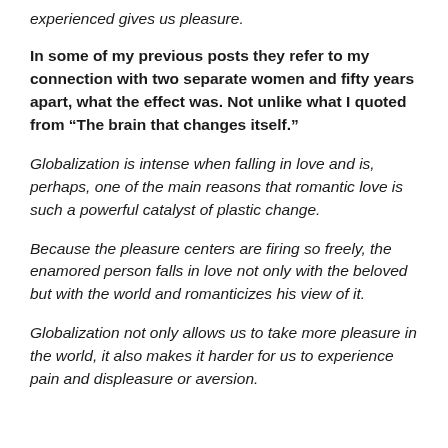experienced gives us pleasure.
In some of my previous posts they refer to my connection with two separate women and fifty years apart, what the effect was. Not unlike what I quoted from “The brain that changes itself.”
Globalization is intense when falling in love and is, perhaps, one of the main reasons that romantic love is such a powerful catalyst of plastic change.
Because the pleasure centers are firing so freely, the enamored person falls in love not only with the beloved but with the world and romanticizes his view of it.
Globalization not only allows us to take more pleasure in the world, it also makes it harder for us to experience pain and displeasure or aversion.